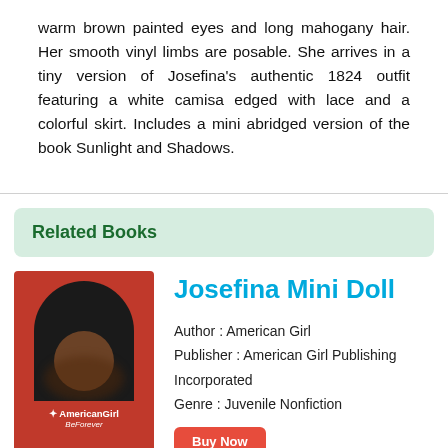warm brown painted eyes and long mahogany hair. Her smooth vinyl limbs are posable. She arrives in a tiny version of Josefina's authentic 1824 outfit featuring a white camisa edged with lace and a colorful skirt. Includes a mini abridged version of the book Sunlight and Shadows.
Related Books
[Figure (photo): Product box image of the Josefina Mini Doll with red American Girl BeForever packaging showing a doll with dark hair visible through an arch-shaped window.]
Josefina Mini Doll
Author : American Girl
Publisher : American Girl Publishing Incorporated
Genre : Juvenile Nonfiction